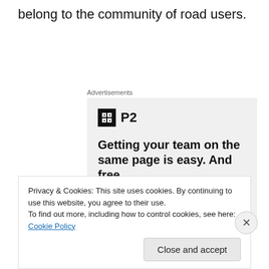belong to the community of road users.
Advertisements
[Figure (infographic): Advertisement for P2 service showing logo with black square icon and text 'P2', headline 'Getting your team on the same page is easy. And free.' with four circular avatar images at the bottom.]
Privacy & Cookies: This site uses cookies. By continuing to use this website, you agree to their use.
To find out more, including how to control cookies, see here: Cookie Policy